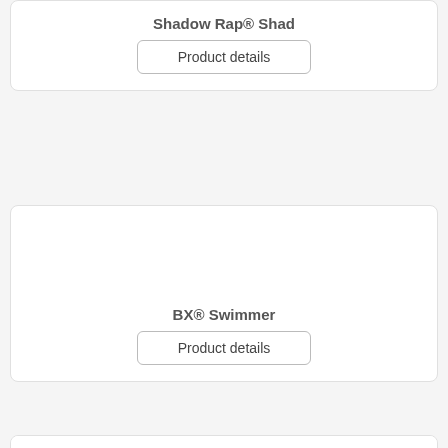Shadow Rap® Shad
Product details
BX® Swimmer
Product details
Big O
Product details